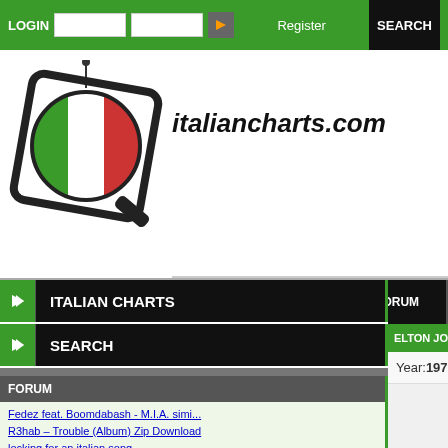LOGIN  Register  SEARCH
[Figure (logo): italiancharts.com logo with Italian flag magnifying glass icon]
italiancharts.com
ITALIAN CHARTS
SEARCH
HOME
FORUM
ELTON JOHN - A VERY SPECIAL COLLECTION
Year: 1971
FORUM
Fedez feat. Boomdabash - M.I.A. simi...
R3hab – Trouble (Album) Zip Download
locking for an italian song
Does anyone know this Italian song?
Dario Salvatori: 40 anni di Hit Para...